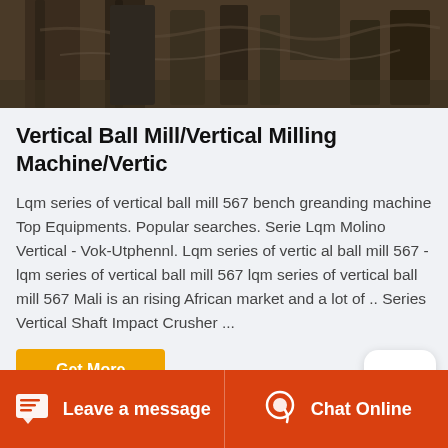[Figure (photo): Industrial machinery photo showing vertical ball mill equipment with dark metal structures and pipes]
Vertical Ball Mill/Vertical Milling Machine/Vertic
Lqm series of vertical ball mill 567 bench greanding machine Top Equipments. Popular searches. Serie Lqm Molino Vertical - Vok-Utphennl. Lqm series of vertic al ball mill 567 - lqm series of vertical ball mill 567 lqm series of vertical ball mill 567 Mali is an rising African market and a lot of .. Series Vertical Shaft Impact Crusher ...
Leave a message   Chat Online